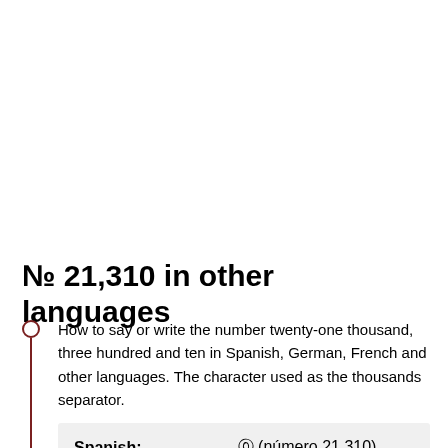№ 21,310 in other languages
How to say or write the number twenty-one thousand, three hundred and ten in Spanish, German, French and other languages. The character used as the thousands separator.
| Spanish: | ⓪ (número 21.310) |
| --- | --- |
veintiuno mil troscientos diez